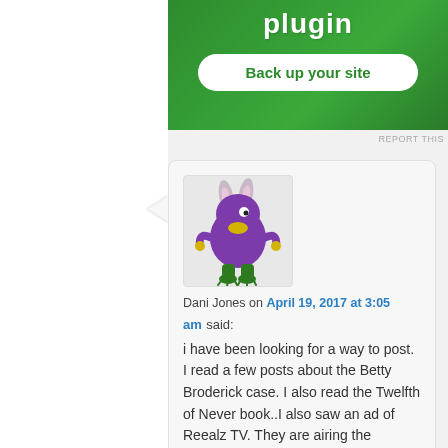plugin
Back up your site
REPORT THIS
[Figure (illustration): Cartoon purple monster character with bunny ears, green legs and claws, yellow beak-like mouth, standing upright with arms outstretched]
Dani Jones on April 19, 2017 at 3:05 am said:
i have been looking for a way to post. I read a few posts about the Betty Broderick case. I also read the Twelfth of Never book..I also saw an ad of Reealz TV. They are airing the Broderick story starting this Saturday.